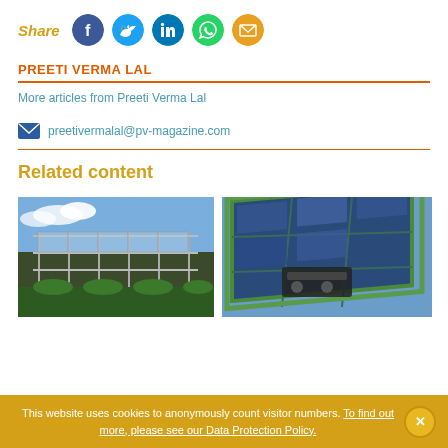Share
PREETI VERMA LAL
More articles from Preeti Verma Lal
preetivermalal@pv-magazine.com
Related content
[Figure (photo): Solar panel greenhouse structure with metal frame, blue sky background]
[Figure (photo): Close-up of solar panels with green mounting frame and cleaning equipment]
This website uses cookies to anonymously count visitor numbers. To find out more, please see our Data Protection Policy.